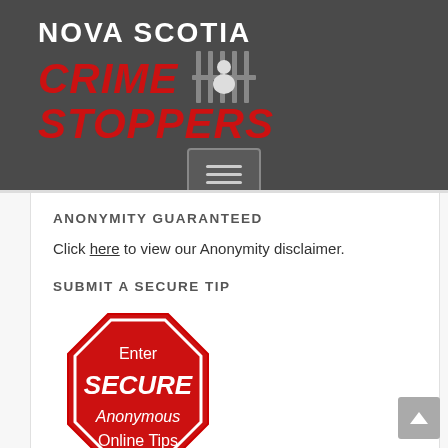[Figure (logo): Nova Scotia Crime Stoppers logo with red bold italic CRIME STOPPERS text, white NOVA SCOTIA text, and a jail bars icon with person silhouette, on dark grey background]
ANONYMITY GUARANTEED
Click here to view our Anonymity disclaimer.
SUBMIT A SECURE TIP
[Figure (illustration): Red octagon stop-sign shaped button with white text: Enter SECURE Anonymous Online Tips]